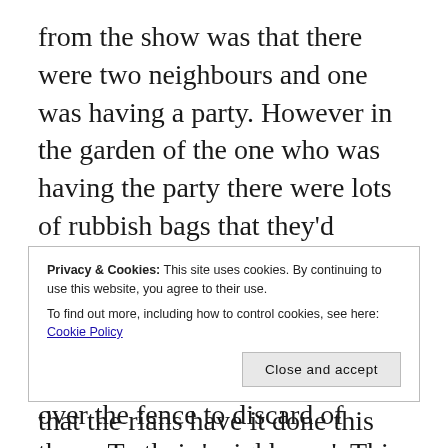from the show was that there were two neighbours and one was having a party. However in the garden of the one who was having the party there were lots of rubbish bags that they'd created. To move them out of the way so it was convenient for them and so their party ran smoothly they chucked the bags over the fence to discard of them. To their 'neighbours'. This was very clever and illustrates how we
Privacy & Cookies: This site uses cookies. By continuing to use this website, you agree to their use.
To find out more, including how to control cookies, see here: Cookie Policy
[Close and accept]
that therians have it done this and out...